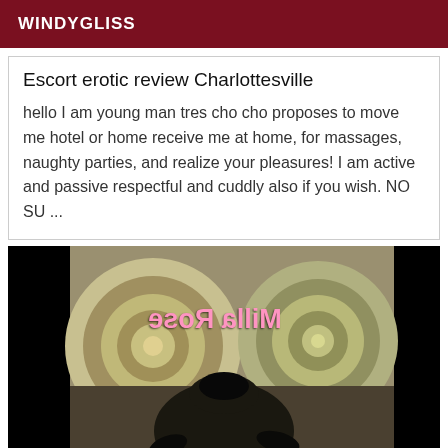WINDYGLISS
Escort erotic review Charlottesville
hello I am young man tres cho cho proposes to move me hotel or home receive me at home, for massages, naughty parties, and realize your pleasures! I am active and passive respectful and cuddly also if you wish. NO SU ...
[Figure (photo): Person in black clothing viewed from behind, posing in front of abstract swirl artwork, with mirrored pink text 'Milla Rose' overlaid on the image]